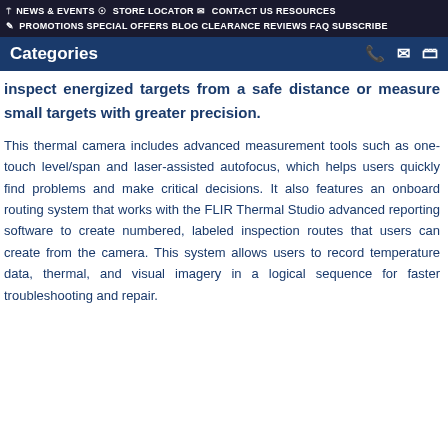NEWS & EVENTS  STORE LOCATOR  CONTACT US RESOURCES  PROMOTIONS SPECIAL OFFERS BLOG CLEARANCE REVIEWS FAQ SUBSCRIBE
Categories
inspect energized targets from a safe distance or measure small targets with greater precision.
This thermal camera includes advanced measurement tools such as one-touch level/span and laser-assisted autofocus, which helps users quickly find problems and make critical decisions. It also features an onboard routing system that works with the FLIR Thermal Studio advanced reporting software to create numbered, labeled inspection routes that users can create from the camera. This system allows users to record temperature data, thermal, and visual imagery in a logical sequence for faster troubleshooting and repair.